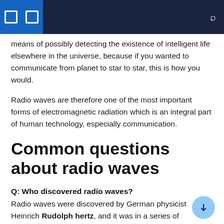means of possibly detecting the existence of intelligent life elsewhere in the universe, because if you wanted to communicate from planet to star to star, this is how you would.
Radio waves are therefore one of the most important forms of electromagnetic radiation which is an integral part of human technology, especially communication.
Common questions about radio waves
Q: Who discovered radio waves?
Radio waves were discovered by German physicist Heinrich Rudolph hertz, and it was in a series of experiments in the late 1880s.
Q: How has radio communication been concretely